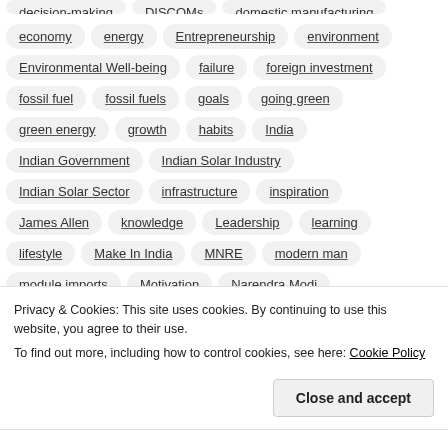decision-making, DISCOMs, domestic manufacturing
economy, energy, Entrepreneurship, environment
Environmental Well-being, failure, foreign investment
fossil fuel, fossil fuels, goals, going green
green energy, growth, habits, India
Indian Government, Indian Solar Industry
Indian Solar Sector, infrastructure, inspiration
James Allen, knowledge, Leadership, learning
lifestyle, Make In India, MNRE, modern man
module imports, Motivation, Narendra Modi
natural resources, opportunity, permanence
Privacy & Cookies: This site uses cookies. By continuing to use this website, you agree to their use.
To find out more, including how to control cookies, see here: Cookie Policy
solar energy, solar energy targets, solar equipment